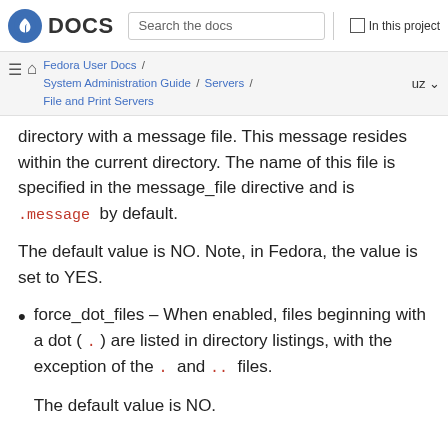DOCS   Search the docs   In this project
Fedora User Docs / System Administration Guide / Servers / File and Print Servers   uz
directory with a message file. This message resides within the current directory. The name of this file is specified in the message_file directive and is .message by default.
The default value is NO. Note, in Fedora, the value is set to YES.
force_dot_files — When enabled, files beginning with a dot ( . ) are listed in directory listings, with the exception of the . and .. files.

The default value is NO.